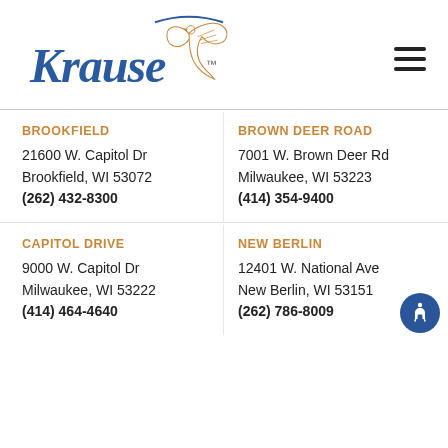[Figure (logo): Krause Funeral Home logo with cursive blue Krause text and dove illustration, with TM mark]
BROOKFIELD
21600 W. Capitol Dr
Brookfield, WI 53072
(262) 432-8300
BROWN DEER ROAD
7001 W. Brown Deer Rd
Milwaukee, WI 53223
(414) 354-9400
CAPITOL DRIVE
9000 W. Capitol Dr
Milwaukee, WI 53222
(414) 464-4640
NEW BERLIN
12401 W. National Ave
New Berlin, WI 53151
(262) 786-8009